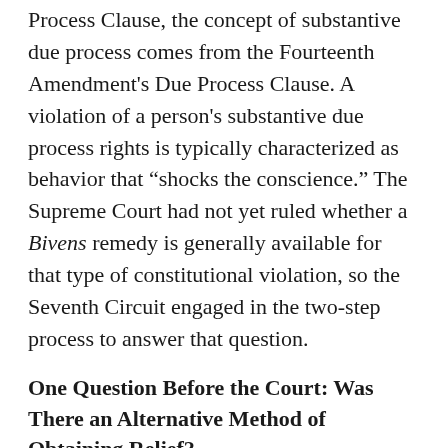Process Clause, the concept of substantive due process comes from the Fourteenth Amendment's Due Process Clause. A violation of a person's substantive due process rights is typically characterized as behavior that “shocks the conscience.” The Supreme Court had not yet ruled whether a Bivens remedy is generally available for that type of constitutional violation, so the Seventh Circuit engaged in the two-step process to answer that question.
One Question Before the Court: Was There an Alternative Method of Obtaining Relief?
The court first looked for an alternative method of